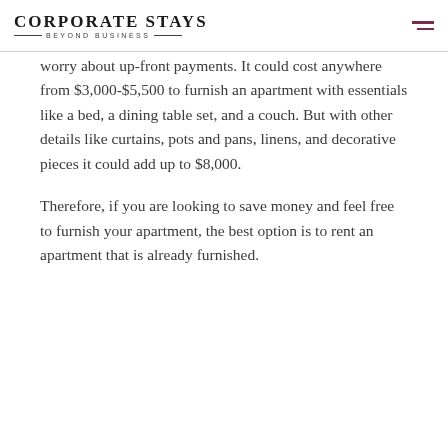Corporate Stays Beyond Business
worry about up-front payments. It could cost anywhere from $3,000-$5,500 to furnish an apartment with essentials like a bed, a dining table set, and a couch. But with other details like curtains, pots and pans, linens, and decorative pieces it could add up to $8,000.
Therefore, if you are looking to save money and feel free to furnish your apartment, the best option is to rent an apartment that is already furnished.